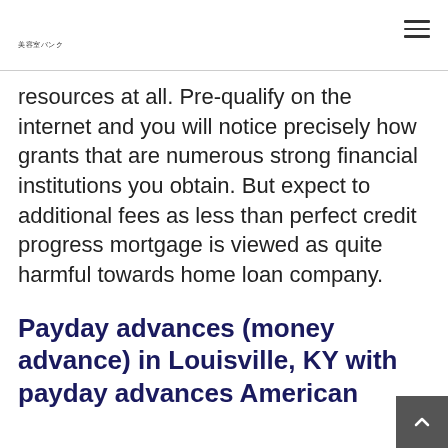美容室バンク
resources at all. Pre-qualify on the internet and you will notice precisely how grants that are numerous strong financial institutions you obtain. But expect to additional fees as less than perfect credit progress mortgage is viewed as quite harmful towards home loan company.
Payday advances (money advance) in Louisville, KY with payday advances American